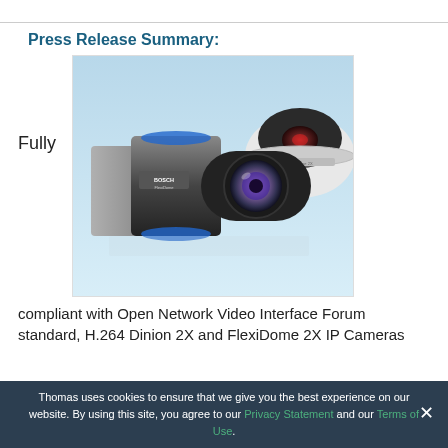Press Release Summary:
Fully
[Figure (photo): Two Bosch IP security cameras: a large box-style camera with a large lens in the foreground and a dome-style camera in the background, both on a light blue gradient background.]
compliant with Open Network Video Interface Forum standard, H.264 Dinion 2X and FlexiDome 2X IP Cameras
Thomas uses cookies to ensure that we give you the best experience on our website. By using this site, you agree to our Privacy Statement and our Terms of Use.